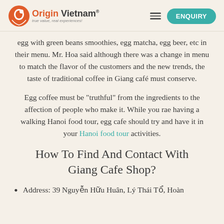Origin Vietnam® true value, real experiences! | ENQUIRY
egg with green beans smoothies, egg matcha, egg beer, etc in their menu. Mr. Hoa said although there was a change in menu to match the flavor of the customers and the new trends, the taste of traditional coffee in Giang café must conserve.
Egg coffee must be “truthful” from the ingredients to the affection of people who make it. While you rae having a walking Hanoi food tour, egg cafe should try and have it in your Hanoi food tour activities.
How To Find And Contact With Giang Cafe Shop?
Address: 39 Nguyễn Hữu Huân, Lý Thái Tổ, Hoàn